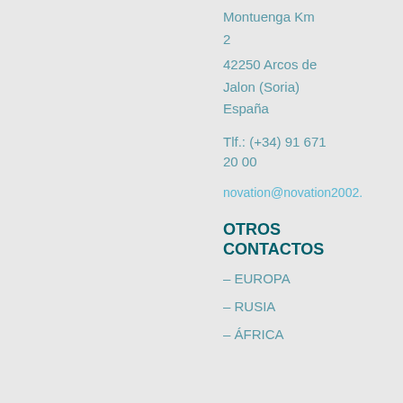Montuenga Km 2
42250 Arcos de Jalon (Soria)
España
Tlf.: (+34) 91 671 20 00
novation@novation2002.
OTROS CONTACTOS
– EUROPA
– RUSIA
– ÁFRICA